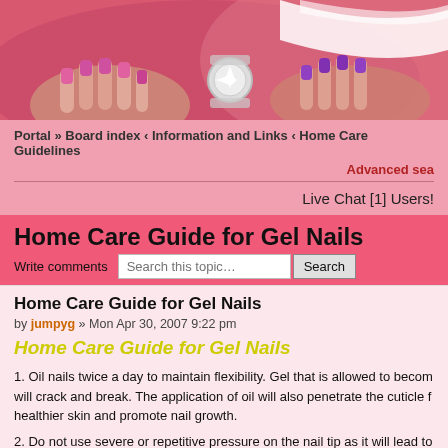[Figure (photo): Website banner with manicured hands showing pink and purple gel nails and a diamond ring on a pink background with white swoosh design]
Portal » Board index ‹ Information and Links ‹ Home Care Guidelines
Advanced sea
Live Chat [1] Users!
Home Care Guide for Gel Nails
Write comments
Home Care Guide for Gel Nails
by jumpyg » Mon Apr 30, 2007 9:22 pm
Home Care Guide for Gel Nails
1. Oil nails twice a day to maintain flexibility. Gel that is allowed to becom will crack and break. The application of oil will also penetrate the cuticle f healthier skin and promote nail growth.
2. Do not use severe or repetitive pressure on the nail tip as it will lead to